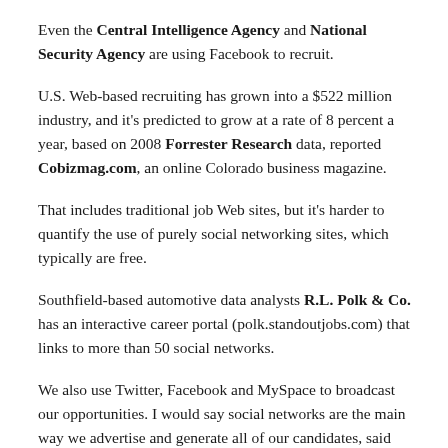Even the Central Intelligence Agency and National Security Agency are using Facebook to recruit.
U.S. Web-based recruiting has grown into a $522 million industry, and it's predicted to grow at a rate of 8 percent a year, based on 2008 Forrester Research data, reported Cobizmag.com, an online Colorado business magazine.
That includes traditional job Web sites, but it's harder to quantify the use of purely social networking sites, which typically are free.
Southfield-based automotive data analysts R.L. Polk & Co. has an interactive career portal (polk.standoutjobs.com) that links to more than 50 social networks.
We also use Twitter, Facebook and MySpace to broadcast our opportunities. I would say social networks are the main way we advertise and generate all of our candidates, said JayMarshall, Polk's manager of talent acquisition.